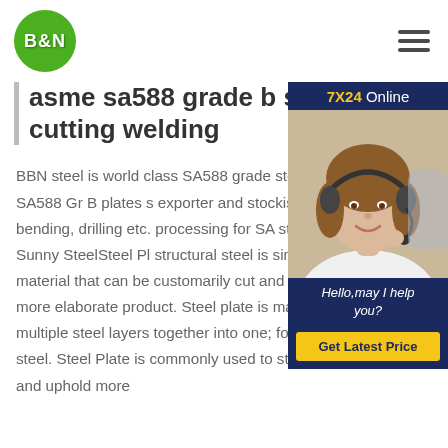B&N [logo] | hamburger menu
asme sa588 grade b steel cutting welding
[Figure (photo): Customer service representative with headset smiling, overlaid with '7X24 Online' header, 'Hello, may I help you?' message, and 'Get Latest Price' button]
BBN steel is world class SA588 grade steel plate ASME SA588 Gr B plates s exporter and stockist. We offer cutting, bending, drilling etc. processing for SA steel.Steel plate - Sunny SteelSteel Pl structural steel is simply steel sheet material that can be customarily cut and welded to develop a more elaborate product. Steel plate is made by compressing multiple steel layers together into one; forming a plate of steel. Steel Plate is commonly used to strengthen foundations and uphold more